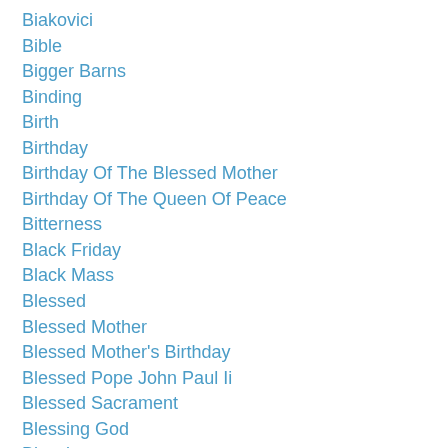Biakovici
Bible
Bigger Barns
Binding
Birth
Birthday
Birthday Of The Blessed Mother
Birthday Of The Queen Of Peace
Bitterness
Black Friday
Black Mass
Blessed
Blessed Mother
Blessed Mother's Birthday
Blessed Pope John Paul Ii
Blessed Sacrament
Blessing God
Blessings
Blind
Blindness
Body